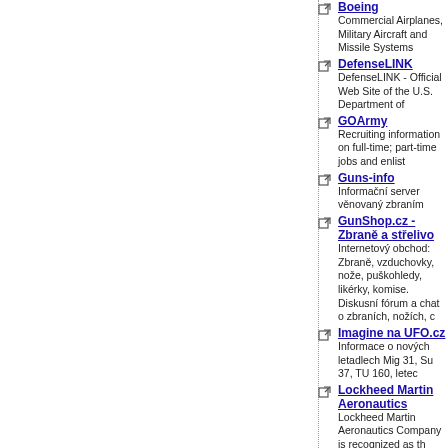Boeing - Commercial Airplanes, Military Aircraft and Missile Systems
DefenseLINK - DefenseLINK - Official Web Site of the U.S. Department of
GOArmy - Recruiting information on full-time; part-time jobs and enlist
Guns-info - Informační server věnovaný zbraním
GunShop.cz - Zbraně a střelivo - Internetový obchod: Zbraně, vzduchovky, nože, puškohledy, likérky, komise. Diskusní fórum a chat o zbraních, nožích, c
Imagine na UFO.cz - Informace o nových letadlech Mig 31, Su 37, TU 160, letec
Lockheed Martin Aeronautics - Lockheed Martin Aeronautics Company is recognized as th fighters
Marine Corps - Official Website for the United States Marine Corps
Military - The best czech military pages - Největší český on-line arch
NASA - National Aeronautic & Space Administrations
Northrop Grumman - Manufacturer of military surveillance and combat aircraft
Peace Action: Practical, Positive Altern
Project-X vs. Detonator - Chemie, technologie, teorie a zejména (ne)bezpečnosti asp směsí
Saab - Aerospace and defence - a leading high-technology compa